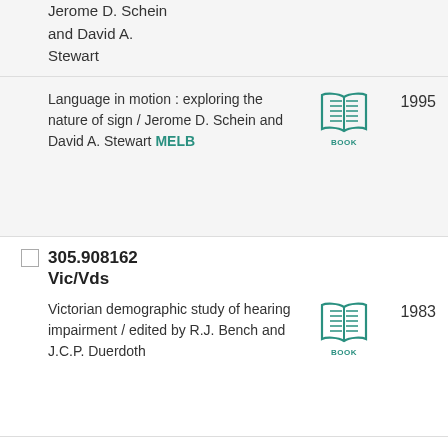Jerome D. Schein and David A. Stewart
Language in motion : exploring the nature of sign / Jerome D. Schein and David A. Stewart MELB
1995
305.908162 Vic/Vds
Victorian demographic study of hearing impairment / edited by R.J. Bench and J.C.P. Duerdoth
1983